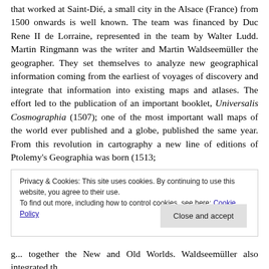that worked at Saint-Dié, a small city in the Alsace (France) from 1500 onwards is well known. The team was financed by Duc Rene II de Lorraine, represented in the team by Walter Ludd. Martin Ringmann was the writer and Martin Waldseemüller the geographer. They set themselves to analyze new geographical information coming from the earliest of voyages of discovery and integrate that information into existing maps and atlases. The effort led to the publication of an important booklet, Universalis Cosmographia (1507); one of the most important wall maps of the world ever published and a globe, published the same year. From this revolution in cartography a new line of editions of Ptolemy's Geographia was born (1513;
Privacy & Cookies: This site uses cookies. By continuing to use this website, you agree to their use.
To find out more, including how to control cookies, see here: Cookie Policy
Close and accept
g... together the New and Old Worlds. Waldseemüller also integrated th